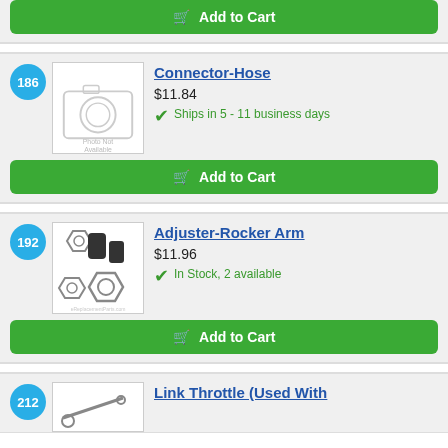[Figure (other): Add to Cart button (partial, top of page)]
186
[Figure (photo): Photo Not Available placeholder image for Connector-Hose]
Connector-Hose
$11.84
Ships in 5 - 11 business days
[Figure (other): Add to Cart button for Connector-Hose]
192
[Figure (photo): Photo of Adjuster-Rocker Arm parts: nuts and black cylinders]
Adjuster-Rocker Arm
$11.96
In Stock, 2 available
[Figure (other): Add to Cart button for Adjuster-Rocker Arm]
212
Link Throttle (Used With